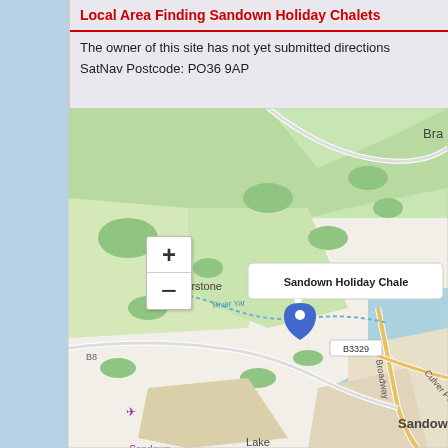Local Area Finding Sandown Holiday Chalets
The owner of this site has not yet submitted directions
SatNav Postcode: PO36 9AP
[Figure (map): OpenStreetMap showing the area around Sandown, Isle of Wight, with a location pin marking Sandown Holiday Chalets. The map shows Alverstone, River Yar, Sandown Airfield, Lake, Sandown, Broadway (B3329), and Culver Parade. A tooltip reads 'Sandown Holiday Chale...' near the blue pin marker.]